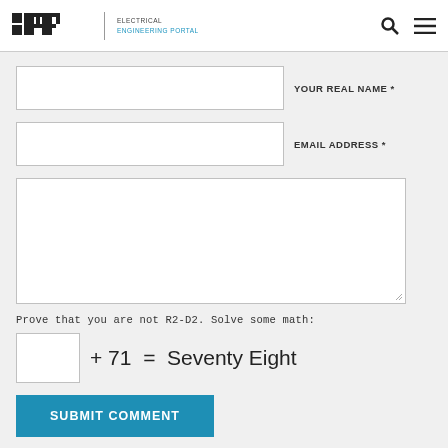EEP | ELECTRICAL ENGINEERING PORTAL
YOUR REAL NAME *
EMAIL ADDRESS *
Prove that you are not R2-D2. Solve some math:
SUBMIT COMMENT